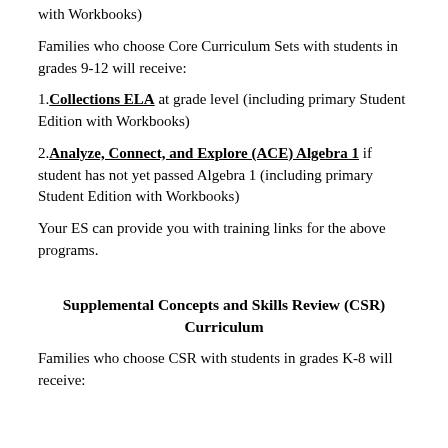with Workbooks)
Families who choose Core Curriculum Sets with students in grades 9-12 will receive:
1. Collections ELA at grade level (including primary Student Edition with Workbooks)
2. Analyze, Connect, and Explore (ACE) Algebra 1 if student has not yet passed Algebra 1 (including primary Student Edition with Workbooks)
Your ES can provide you with training links for the above programs.
Supplemental Concepts and Skills Review (CSR) Curriculum
Families who choose CSR with students in grades K-8 will receive: